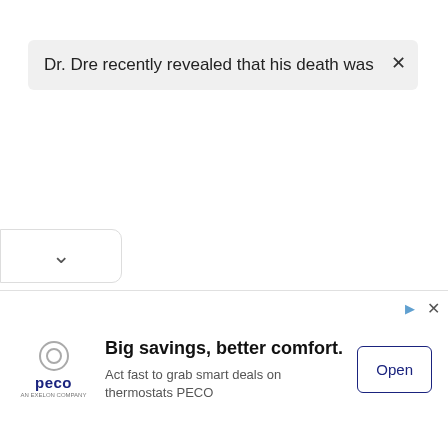Dr. Dre recently revealed that his death was
[Figure (screenshot): Bottom tab with chevron/down arrow indicator]
[Figure (screenshot): Advertisement banner for PECO: 'Big savings, better comfort. Act fast to grab smart deals on thermostats PECO' with Open button]